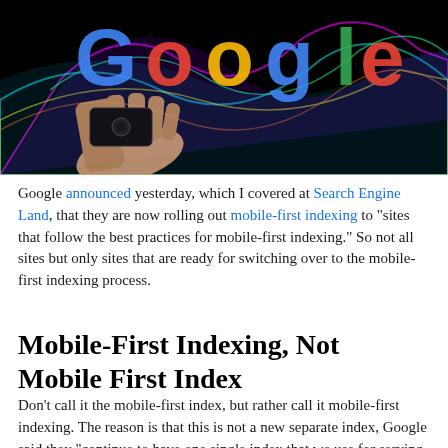[Figure (photo): Black background image showing a hand holding a smartphone with the colorful Google logo overlaid on top, with vibrant neon wave patterns.]
Google announced yesterday, which I covered at Search Engine Land, that they are now rolling out mobile-first indexing to "sites that follow the best practices for mobile-first indexing." So not all sites but only sites that are ready for switching over to the mobile-first indexing process.
Mobile-First Indexing, Not Mobile First Index
Don't call it the mobile-first index, but rather call it mobile-first indexing. The reason is that this is not a new separate index, Google said they "continue to have one single index that we use for serving search results." "We do not have a "mobile-first index"